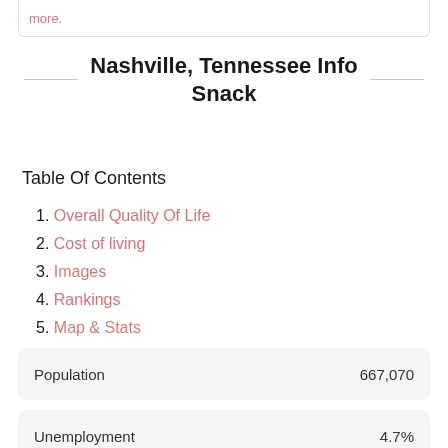more.
Nashville, Tennessee Info Snack
Table Of Contents
1. Overall Quality Of Life
2. Cost of living
3. Images
4. Rankings
5. Map & Stats
|  |  |
| --- | --- |
| Population | 667,070 |
| Unemployment | 4.7% |